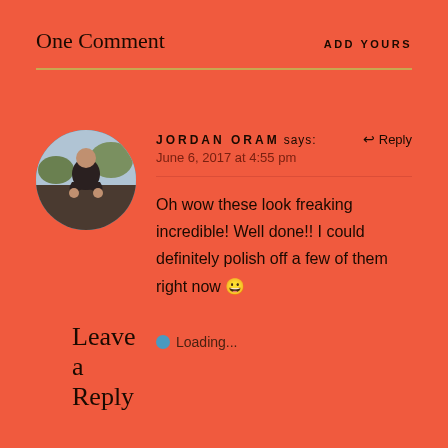One Comment
ADD YOURS
JORDAN ORAM says:
June 6, 2017 at 4:55 pm
Oh wow these look freaking incredible! Well done!! I could definitely polish off a few of them right now 😀
Loading...
Leave a Reply